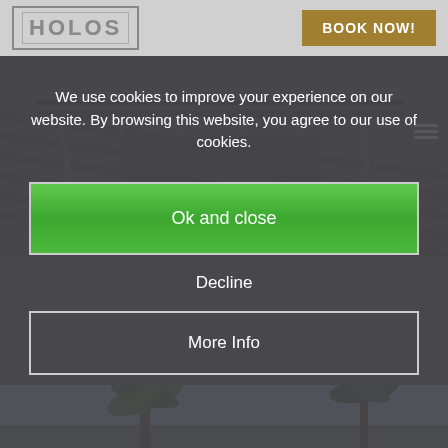HOLOS | BOOK NOW!
[Figure (screenshot): Website screenshot showing a hotel/property booking site named HOLOS with a rooftop deck photo and palm tree photo in background, overlaid by a cookie consent dialog.]
We use cookies to improve your experience on our website. By browsing this website, you agree to our use of cookies.
Ok and close
Decline
More Info